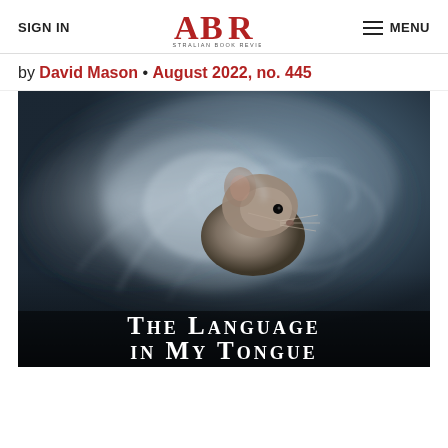SIGN IN | ABR Australian Book Review | MENU
by David Mason • August 2022, no. 445
[Figure (photo): Book cover of 'The Language in My Tongue' showing a mouse or small rodent surrounded by swirling mist/smoke on a dark background, with the title text 'The Language in My Tongue' at the bottom in white serif small-caps font.]
The Language in My Tongue